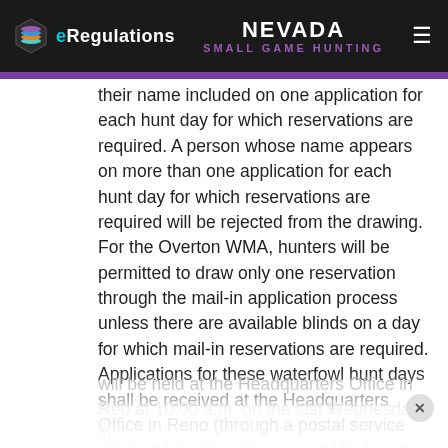eRegulations | NEVADA SMALL GAME HUNTING
their name included on one application for each hunt day for which reservations are required. A person whose name appears on more than one application for each hunt day for which reservations are required will be rejected from the drawing. For the Overton WMA, hunters will be permitted to draw only one reservation through the mail-in application process unless there are available blinds on a day for which mail-in reservations are required. Applications for these waterfowl hunt days shall be received at the Headquarters Office in Reno (through a postal service only) no later than the second Wednesday in September. A public drawing will be held at the Headquarters Office in Reno at 10:00 a.m. on the last Wednesday in